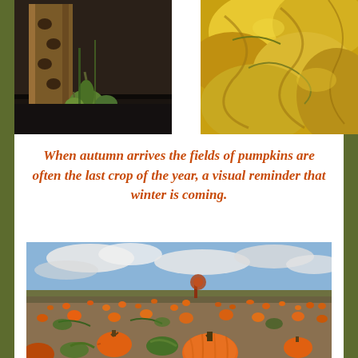[Figure (photo): Photo of green gourds and a wooden display structure at a farm stand]
[Figure (photo): Close-up photo of yellow/golden squash or gourds piled together]
When autumn arrives the fields of pumpkins are often the last crop of the year, a visual reminder that winter is coming.
[Figure (photo): Wide field of orange pumpkins on a farm under a partly cloudy sky, with farm equipment visible in the background]